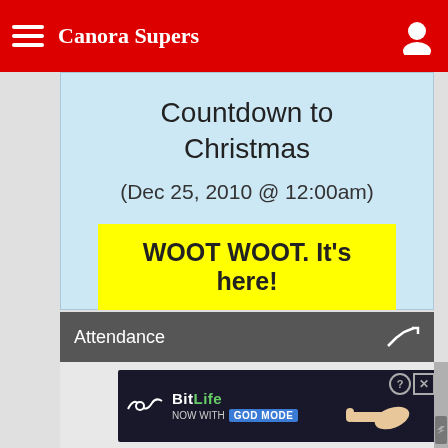Canora Supers
Countdown to Christmas
(Dec 25, 2010 @ 12:00am)
WOOT WOOT. It's here!
Attendance
[Figure (screenshot): BitLife advertisement banner: NOW WITH GOD MODE]